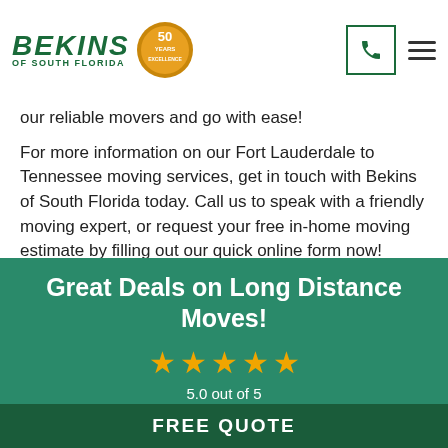Bekins of South Florida — navigation header with logo, phone icon, and hamburger menu
our reliable movers and go with ease!
For more information on our Fort Lauderdale to Tennessee moving services, get in touch with Bekins of South Florida today. Call us to speak with a friendly moving expert, or request your free in-home moving estimate by filling out our quick online form now!
Great Deals on Long Distance Moves!
5.0 out of 5
based on 99 Reviews
[Figure (logo): BBB Accredited Business badge with blue background]
FREE QUOTE